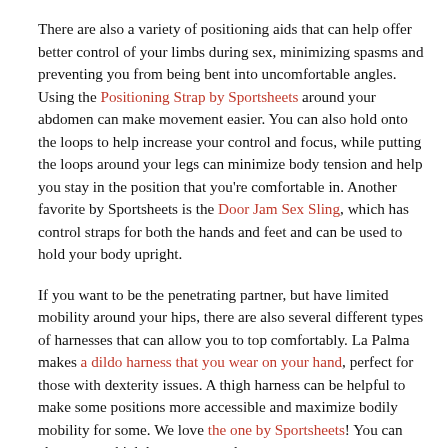There are also a variety of positioning aids that can help offer better control of your limbs during sex, minimizing spasms and preventing you from being bent into uncomfortable angles. Using the Positioning Strap by Sportsheets around your abdomen can make movement easier. You can also hold onto the loops to help increase your control and focus, while putting the loops around your legs can minimize body tension and help you stay in the position that you're comfortable in. Another favorite by Sportsheets is the Door Jam Sex Sling, which has control straps for both the hands and feet and can be used to hold your body upright.
If you want to be the penetrating partner, but have limited mobility around your hips, there are also several different types of harnesses that can allow you to top comfortably. La Palma makes a dildo harness that you wear on your hand, perfect for those with dexterity issues. A thigh harness can be helpful to make some positions more accessible and maximize bodily mobility for some. We love the one by Sportsheets! You can also wrap a thigh harness around a